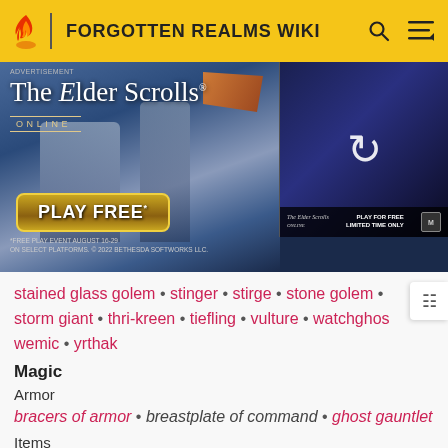FORGOTTEN REALMS WIKI
[Figure (screenshot): Advertisement for The Elder Scrolls Online PLAY FREE event, showing a battle scene with knights and a second thumbnail panel with a refresh icon.]
stained glass golem • stinger • stirge • stone golem • storm giant • thri-kreen • tiefling • vulture • watchghost • wemic • yrthak
Magic
Armor
bracers of armor • breastplate of command • ghost gauntlet
Items